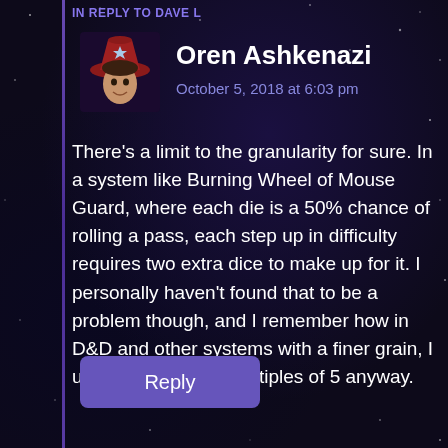IN REPLY TO DAVE L
Oren Ashkenazi
October 5, 2018 at 6:03 pm
[Figure (illustration): Avatar of Oren Ashkenazi: illustrated portrait of a person wearing a red hat with a star/snowflake emblem, against a dark background.]
There’s a limit to the granularity for sure. In a system like Burning Wheel of Mouse Guard, where each die is a 50% chance of rolling a pass, each step up in difficulty requires two extra dice to make up for it. I personally haven’t found that to be a problem though, and I remember how in D&D and other systems with a finer grain, I usually skipped to multiples of 5 anyway.
Reply